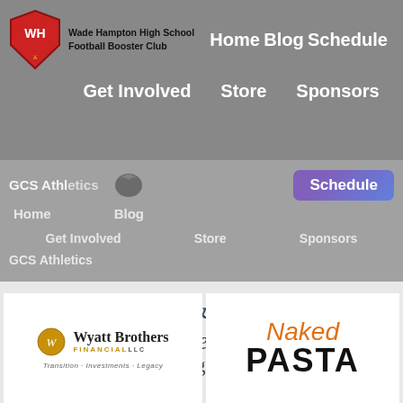[Figure (screenshot): Wade Hampton High School Football Booster Club website navigation header with logo, nav links (Home, Blog, Schedule, Get Involved, Store, Sponsors), overlaid ghost navigation, D&B Forever Photography sponsor logo, Wyatt Brothers Financial sponsor box, Naked Pasta sponsor box]
Home  Blog  Schedule  Get Involved  Store  Sponsors
Wade Hampton High School Football Booster Club
GCS Athletics  Home  Blog  Schedule  Get Involved  Store  Sponsors  GCS Athletics
[Figure (logo): D & B Forever Photography logo with bracket corners]
[Figure (logo): Wyatt Brothers Financial LLC - Transition · Investments · Legacy]
[Figure (logo): Naked Pasta logo in orange and black script/block letters]